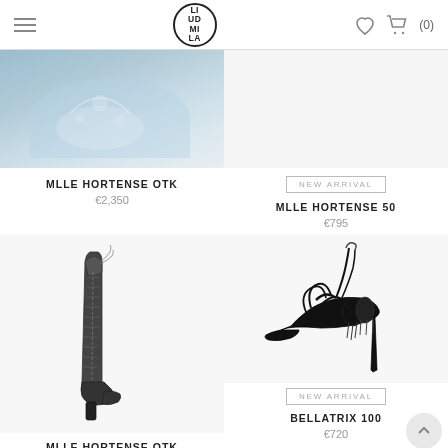LIUDMILA — Navigation header with hamburger menu, logo, heart and cart icons
[Figure (photo): Partial top-left product image showing light blue/grey background with decorative cutout details (MLLE HORTENSE OTK boot partial)]
MLLE HORTENSE OTK
€2,350
[Figure (photo): NEW ARRIVAL badge placeholder for MLLE HORTENSE 50 product]
MLLE HORTENSE 50
€795
[Figure (photo): Black over-the-knee lace-up boot with block heel on white background — MLLE HORTENSE OTK]
MLLE HORTENSE OTK
[Figure (photo): Black strappy high heel pump with tassel lace-up detail — BELLATRIX 100. NEW ARRIVAL badge shown.]
BELLATRIX 100
€720